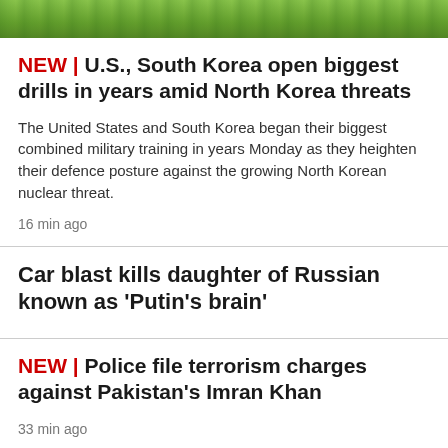[Figure (photo): Green outdoor landscape photo, cropped at top of page]
NEW | U.S., South Korea open biggest drills in years amid North Korea threats
The United States and South Korea began their biggest combined military training in years Monday as they heighten their defence posture against the growing North Korean nuclear threat.
16 min ago
Car blast kills daughter of Russian known as 'Putin's brain'
NEW | Police file terrorism charges against Pakistan's Imran Khan
33 min ago
NEW | Trial lawyers in England and Wales vote